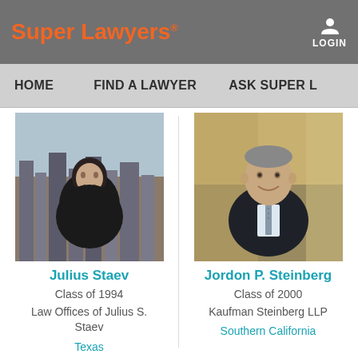Super Lawyers® LOGIN
HOME  FIND A LAWYER  ASK SUPER L...
[Figure (photo): Headshot of Julius Staev, a man in a dark jacket with a city skyline background]
Julius Staev
Class of 1994
Law Offices of Julius S. Staev
Texas
[Figure (photo): Headshot of Jordon P. Steinberg, a man in a dark suit and tie, smiling]
Jordon P. Steinberg
Class of 2000
Kaufman Steinberg LLP
Southern California